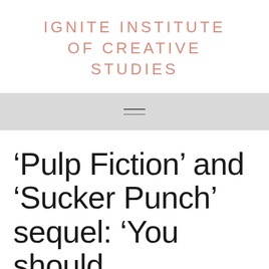IGNITE INSTITUTE OF CREATIVE STUDIES
[Figure (other): Navigation hamburger menu icon (three horizontal lines) on a light grey bar]
‘Pulp Fiction’ and ‘Sucker Punch’ sequel: ‘You should